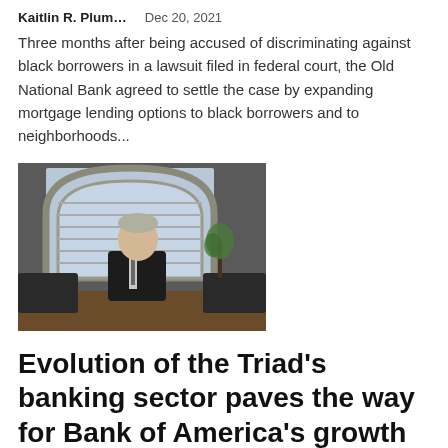Kaitlin R. Plum…    Dec 20, 2021
Three months after being accused of discriminating against black borrowers in a lawsuit filed in federal court, the Old National Bank agreed to settle the case by expanding mortgage lending options to black borrowers and to neighborhoods...
[Figure (photo): A man in a dark suit sits at a desk in front of a large arched window with blinds, in what appears to be an office or boardroom setting.]
Evolution of the Triad’s banking sector paves the way for Bank of America’s growth |...
Kaitlin R. Plum…    Dec 18, 2021